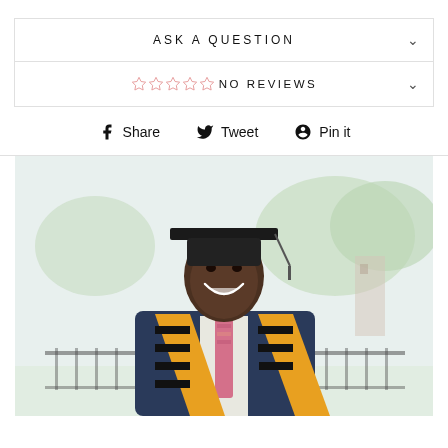ASK A QUESTION
☆☆☆☆☆ NO REVIEWS
Share   Tweet   Pin it
[Figure (photo): A smiling young man wearing a graduation cap and gown with a yellow and black kente cloth stole over a navy suit and floral tie, photographed outdoors with trees and a building in the background.]